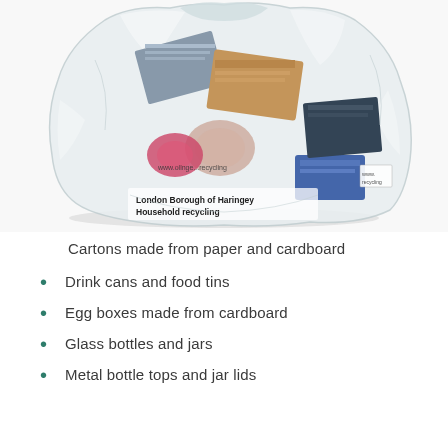[Figure (photo): A transparent plastic recycling bag filled with various recyclable materials including paper, cardboard, cans, and other items. The bag is labeled with text including 'London Borough of Haringey Household recycling'.]
Cartons made from paper and cardboard
Drink cans and food tins
Egg boxes made from cardboard
Glass bottles and jars
Metal bottle tops and jar lids